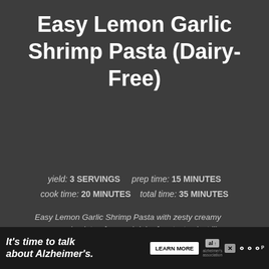Easy Lemon Garlic Shrimp Pasta (Dairy-Free)
yield: 3 SERVINGS    prep time: 15 MINUTES
cook time: 20 MINUTES    total time: 35 MINUTES
Easy Lemon Garlic Shrimp Pasta with zesty creamy sauce made gluten-free and dairy-free tastes just like your favorite authentic Italian dish.
[Figure (other): Five empty star rating icons in gray]
No Ratings
[Figure (other): WHAT'S NEXT section showing Mediterranean Shrimp Past... with a food thumbnail image]
[Figure (other): Dark video thumbnail area at bottom of page]
It's time to talk about Alzheimer's. LEARN MORE alzheimer's association